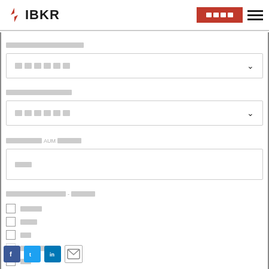IBKR navigation bar with logo, button, and hamburger menu
[redacted label 1]
[dropdown select box 1]
[redacted label 2]
[dropdown select box 2]
[redacted label with AUM text]
[text input field]
[redacted label 4 with dash section]
[checkbox] [redacted 4 chars]
[checkbox] [redacted 3 chars]
[checkbox] [redacted 2 chars]
[checkbox] [redacted chars]/[redacted chars]
[checkbox] [redacted 2 chars]